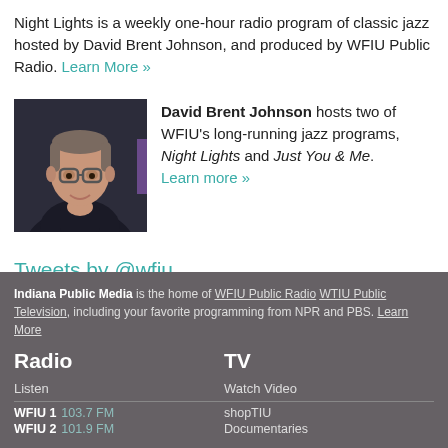Night Lights is a weekly one-hour radio program of classic jazz hosted by David Brent Johnson, and produced by WFIU Public Radio. Learn More »
[Figure (photo): Headshot photo of David Brent Johnson, a man with glasses wearing a dark turtleneck]
David Brent Johnson hosts two of WFIU's long-running jazz programs, Night Lights and Just You & Me. Learn more »
Tweets by @wfiu
Indiana Public Media is the home of WFIU Public Radio WTIU Public Television, including your favorite programming from NPR and PBS. Learn More
Radio
TV
Listen
Watch Video
WFIU 1 103.7 FM
shopTIU
WFIU 2 101.9 FM
Documentaries